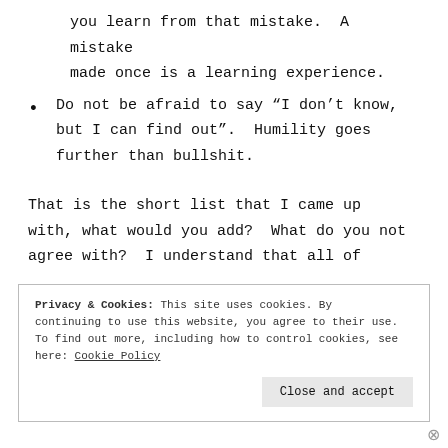you learn from that mistake. A mistake made once is a learning experience.
Do not be afraid to say “I don’t know, but I can find out”. Humility goes further than bullshit.
That is the short list that I came up with, what would you add? What do you not agree with? I understand that all of
Privacy & Cookies: This site uses cookies. By continuing to use this website, you agree to their use. To find out more, including how to control cookies, see here: Cookie Policy
Close and accept